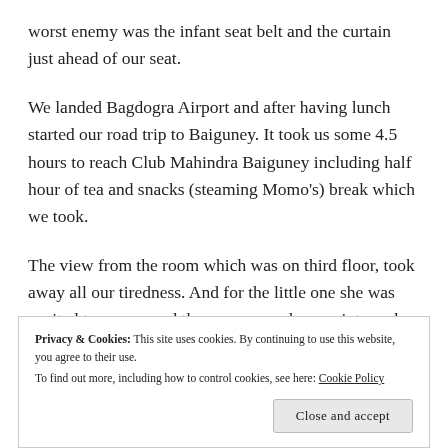worst enemy was the infant seat belt and the curtain just ahead of our seat.
We landed Bagdogra Airport and after having lunch started our road trip to Baiguney. It took us some 4.5 hours to reach Club Mahindra Baiguney including half hour of tea and snacks (steaming Momo's) break which we took.
The view from the room which was on third floor, took away all our tiredness. And for the little one she was excited to run around the new room she was into and
Privacy & Cookies: This site uses cookies. By continuing to use this website, you agree to their use. To find out more, including how to control cookies, see here: Cookie Policy